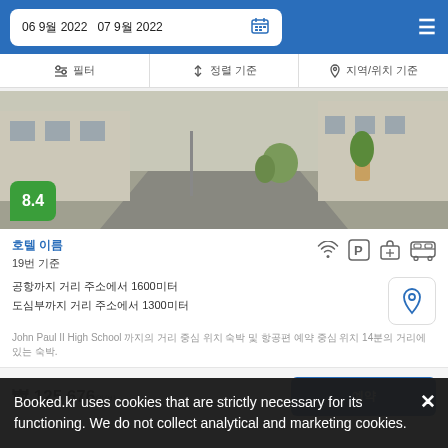06 9월 2022  07 9월 2022
필터  정렬 기준  지역/위치 기준
[Figure (photo): Exterior photo of a property showing a driveway and building facade with a score badge of 8.4]
호텔 이름
19번 기준
공항까지 거리 주소에서 1600미터
도심부까지 거리 주소에서 1300미터
John Paul II High School 까지의 거리 중심 위치 숙박 및 항공편 예약 중심 위치 14분의 거리에 있는 숙박.
₩ 125 676원/박
예약
Booked.kr uses cookies that are strictly necessary for its functioning. We do not collect analytical and marketing cookies.